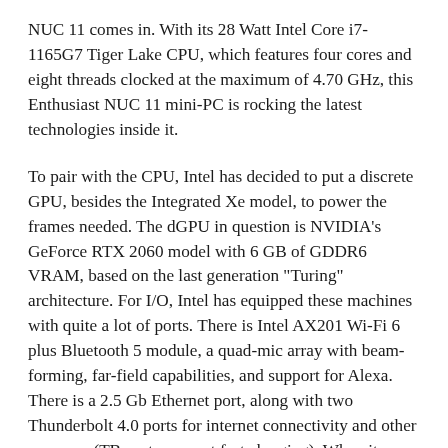NUC 11 comes in. With its 28 Watt Intel Core i7-1165G7 Tiger Lake CPU, which features four cores and eight threads clocked at the maximum of 4.70 GHz, this Enthusiast NUC 11 mini-PC is rocking the latest technologies inside it.
To pair with the CPU, Intel has decided to put a discrete GPU, besides the Integrated Xe model, to power the frames needed. The dGPU in question is NVIDIA's GeForce RTX 2060 model with 6 GB of GDDR6 VRAM, based on the last generation "Turing" architecture. For I/O, Intel has equipped these machines with quite a lot of ports. There is Intel AX201 Wi-Fi 6 plus Bluetooth 5 module, a quad-mic array with beam-forming, far-field capabilities, and support for Alexa. There is a 2.5 Gb Ethernet port, along with two Thunderbolt 4.0 ports for internet connectivity and other purposes (TB ports support fast charging). When it comes to display output, the Enthusiast NUC 11 has HDMI 2.0b and a mini DisplayPort 1.4 port. You can run four monitors in total when using the Thunderbolt ports. On the front side, there is also an SD card reader, and the PC has six USB 3.1 Gen2 ports in total. You can find out more about the Enthusiast NUC 11